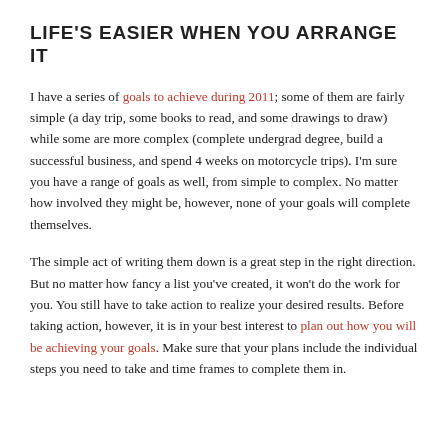LIFE'S EASIER WHEN YOU ARRANGE IT
I have a series of goals to achieve during 2011; some of them are fairly simple (a day trip, some books to read, and some drawings to draw) while some are more complex (complete undergrad degree, build a successful business, and spend 4 weeks on motorcycle trips). I'm sure you have a range of goals as well, from simple to complex. No matter how involved they might be, however, none of your goals will complete themselves.
The simple act of writing them down is a great step in the right direction. But no matter how fancy a list you've created, it won't do the work for you. You still have to take action to realize your desired results. Before taking action, however, it is in your best interest to plan out how you will be achieving your goals. Make sure that your plans include the individual steps you need to take and time frames to complete them in.